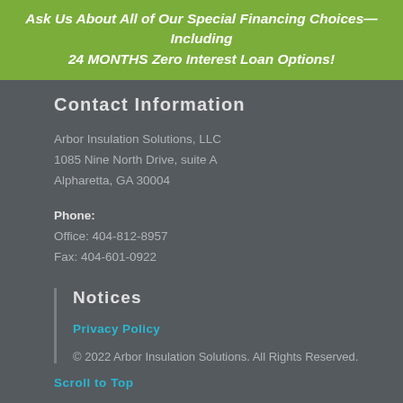Ask Us About All of Our Special Financing Choices—Including 24 MONTHS Zero Interest Loan Options!
Contact Information
Arbor Insulation Solutions, LLC
1085 Nine North Drive, suite A
Alpharetta, GA 30004
Phone:
Office: 404-812-8957
Fax: 404-601-0922
Notices
Privacy Policy
© 2022 Arbor Insulation Solutions. All Rights Reserved.
Scroll to Top